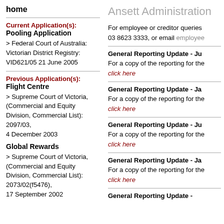home
Ansett Administration
Current Application(s):
Pooling Application
> Federal Court of Australia: Victorian District Registry: VID621/05 21 June 2005
Previous Application(s):
Flight Centre
> Supreme Court of Victoria, (Commercial and Equity Division, Commercial List): 2097/03, 4 December 2003
Global Rewards
> Supreme Court of Victoria, (Commercial and Equity Division, Commercial List): 2073/02(f5476), 17 September 2002
For employee or creditor queries 03 8623 3333, or email employee
General Reporting Update - Ju
For a copy of the reporting for the click here
General Reporting Update - Ja
For a copy of the reporting for the click here
General Reporting Update - Ju
For a copy of the reporting for the click here
General Reporting Update - Ja
For a copy of the reporting for the click here
General Reporting Update -